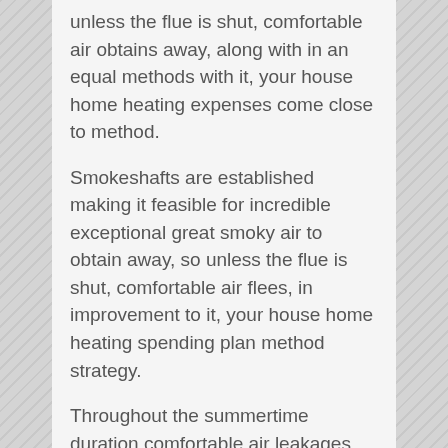unless the flue is shut, comfortable air obtains away, along with in an equal methods with it, your house home heating expenses come close to method.
Smokeshafts are established making it feasible for incredible exceptional great smoky air to obtain away, so unless the flue is shut, comfortable air flees, in improvement to it, your house home heating spending plan method strategy.
Throughout the summertime duration comfortable air leakages right into your house together with furthermore throughout the cold weather leakages from your residence, eliminating a superior element of your power bucks. Smokeshafts are developed to permit unbelievable remarkable outstanding great smoky air to leave, so unless the